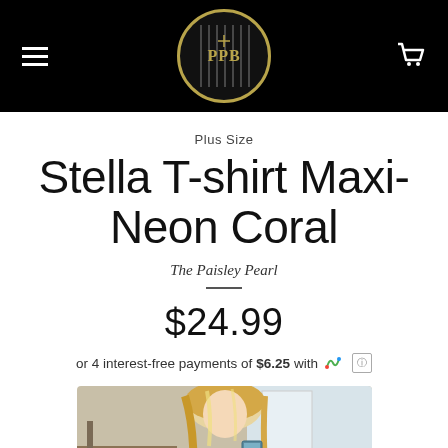PPB - The Paisley Pearl store header with hamburger menu and cart
Plus Size
Stella T-shirt Maxi-Neon Coral
The Paisley Pearl
$24.99
or 4 interest-free payments of $6.25 with Sezzle
[Figure (photo): Woman with blonde hair, product photo for Stella T-shirt Maxi-Neon Coral]